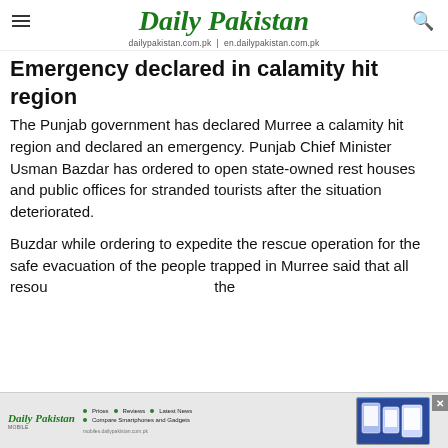Daily Pakistan | dailypakistan.com.pk | en.dailypakistan.com.pk
Emergency declared in calamity hit region
The Punjab government has declared Murree a calamity hit region and declared an emergency. Punjab Chief Minister Usman Bazdar has ordered to open state-owned rest houses and public offices for stranded tourists after the situation deteriorated.
Buzdar while ordering to expedite the rescue operation for the safe evacuation of the people trapped in Murree said that all resou... the